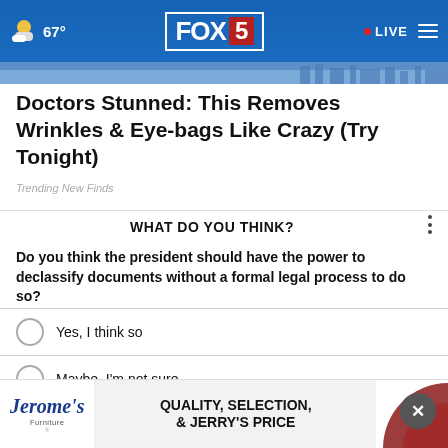FOX 5 | 67° | LIVE
Doctors Stunned: This Removes Wrinkles & Eye-bags Like Crazy (Try Tonight)
Trending New Finds
WHAT DO YOU THINK?
Do you think the president should have the power to declassify documents without a formal legal process to do so?
Yes, I think so
Maybe, I'm not sure
No, I don't think so
Other
[Figure (screenshot): Jerome's Furniture advertisement banner: QUALITY, SELECTION, & JERRY'S PRICE]